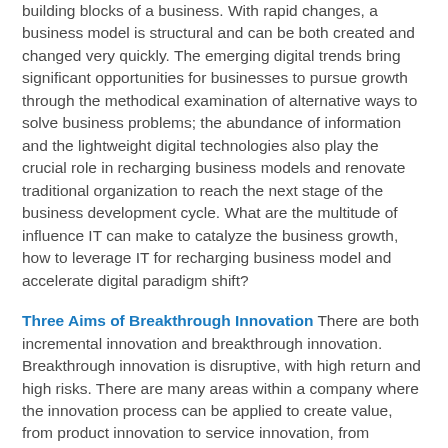building blocks of a business. With rapid changes, a business model is structural and can be both created and changed very quickly. The emerging digital trends bring significant opportunities for businesses to pursue growth through the methodical examination of alternative ways to solve business problems; the abundance of information and the lightweight digital technologies also play the crucial role in recharging business models and renovate traditional organization to reach the next stage of the business development cycle. What are the multitude of influence IT can make to catalyze the business growth, how to leverage IT for recharging business model and accelerate digital paradigm shift?
Three Aims of Breakthrough Innovation There are both incremental innovation and breakthrough innovation. Breakthrough innovation is disruptive, with high return and high risks. There are many areas within a company where the innovation process can be applied to create value, from product innovation to service innovation, from process innovation to business model innovation, etc. The innovation context goes beyond the traditional scope and extends to the following...